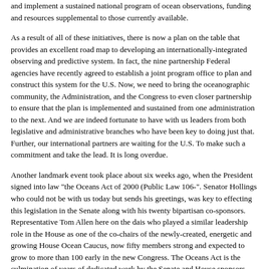and implement a sustained national program of ocean observations, funding and resources supplemental to those currently available.
As a result of all of these initiatives, there is now a plan on the table that provides an excellent road map to developing an internationally-integrated observing and predictive system. In fact, the nine partnership Federal agencies have recently agreed to establish a joint program office to plan and construct this system for the U.S. Now, we need to bring the oceanographic community, the Administration, and the Congress to even closer partnership to ensure that the plan is implemented and sustained from one administration to the next. And we are indeed fortunate to have with us leaders from both legislative and administrative branches who have been key to doing just that. Further, our international partners are waiting for the U.S. To make such a commitment and take the lead. It is long overdue.
Another landmark event took place about six weeks ago, when the President signed into law "the Oceans Act of 2000 (Public Law 106-". Senator Hollings who could not be with us today but sends his greetings, was key to effecting this legislation in the Senate along with his twenty bipartisan co-sponsors. Representative Tom Allen here on the dais who played a similar leadership role in the House as one of the co-chairs of the newly-created, energetic and growing House Ocean Caucus, now fifty members strong and expected to grow to more than 100 early in the new Congress. The Oceans Act is the culmination of years of dedicated work by the Senate and House sponsors and is urgently needed to increase